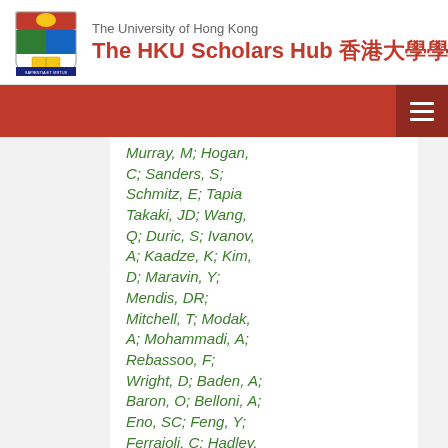The University of Hong Kong — The HKU Scholars Hub 香港大學學術庫
...Murray, M; Hogan, C; Sanders, S; Schmitz, E; Tapia Takaki, JD; Wang, Q; Duric, S; Ivanov, A; Kaadze, K; Kim, D; Maravin, Y; Mendis, DR; Mitchell, T; Modak, A; Mohammadi, A; Rebassoo, F; Wright, D; Baden, A; Baron, O; Belloni, A; Eno, SC; Feng, Y; Ferraioli, C; Hadley, NJ; Jabeen, S; Jeng, GY; Kellogg, RG; Kunkle, J; Mignerey,